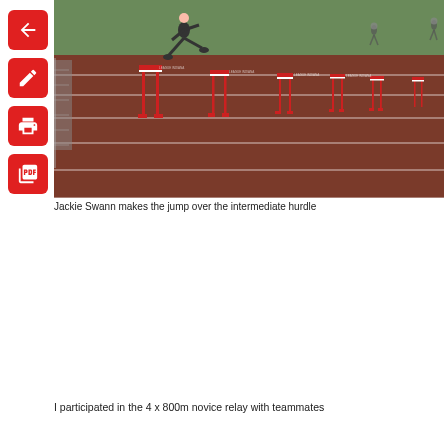[Figure (photo): A track and field athlete (Jackie Swann) jumping over an intermediate hurdle on a red running track with multiple red hurdles visible in the background. Other athletes and green grass visible in the background.]
Jackie Swann makes the jump over the intermediate hurdle
I participated in the 4 x 800m novice relay with teammates